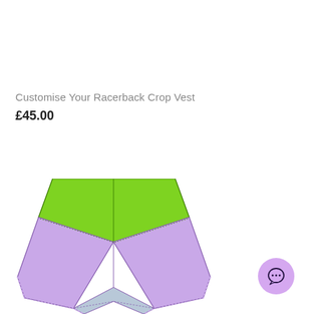Customise Your Racerback Crop Vest
£45.00
[Figure (illustration): Flat lay illustration of high-waisted briefs/shorts with a green waistband and lavender/purple body with a grey gusset, shown in a technical fashion drawing style with stitching lines.]
[Figure (other): Purple circular chat/messaging button icon with ellipsis (three dots) symbol inside.]